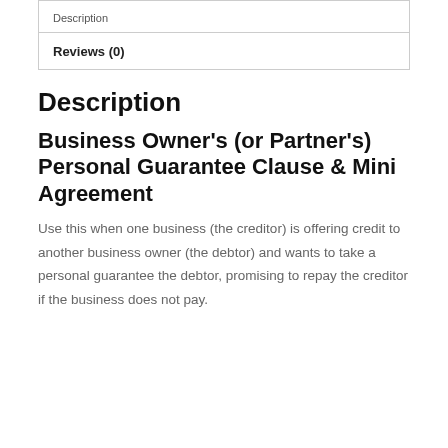Description
Reviews (0)
Description
Business Owner's (or Partner's) Personal Guarantee Clause & Mini Agreement
Use this when one business (the creditor) is offering credit to another business owner (the debtor) and wants to take a personal guarantee the debtor, promising to repay the creditor if the business does not pay.